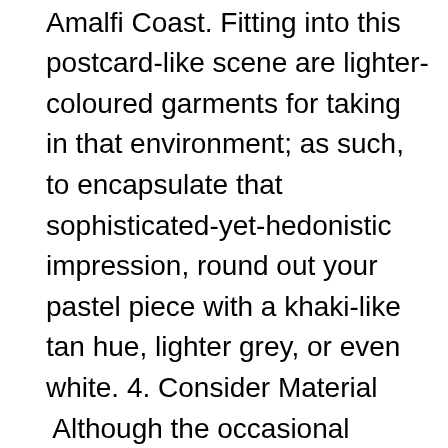street dressers along the Amalfi Coast. Fitting into this postcard-like scene are lighter-coloured garments for taking in that environment; as such, to encapsulate that sophisticated-yet-hedonistic impression, round out your pastel piece with a khaki-like tan hue, lighter grey, or even white. 4. Consider Material  Although the occasional pastel motorcycle jacket or heavy twill trousers surface, a softer shade calls for a lighter material. Linen marks a more logical path, with its woven texture and slightly rumpled appearance infusing it with a more natural edge. The result is less artificial Technicolor and more tinted photograph. As a less-realised strategy, though, sportswear materials, such as a poly/cotton blend, pave a different route. Opening up these hues to more casually leaning pieces, the unrestricted, somewhat stretchy fit designed to let the body move leads to pastel-coloured joggers, polos, and even sweatshirts. Although streetwear brands have dabbled in such a fashion, garments from Next, Hackett London, and Ted Baker apply it